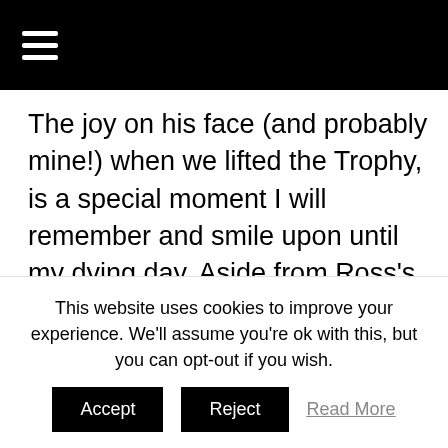≡
The joy on his face (and probably mine!) when we lifted the Trophy, is a special moment I will remember and smile upon until my dying day. Aside from Ross's ability on the table, I can honestly say that in all dealings with this young man, that he is one of the nicest human beings I have ever had the pleasure of meeting. That, for me, is the riches of being involved in the Snooker World.
2. In 1996/97 season, my first one back after
This website uses cookies to improve your experience. We'll assume you're ok with this, but you can opt-out if you wish.